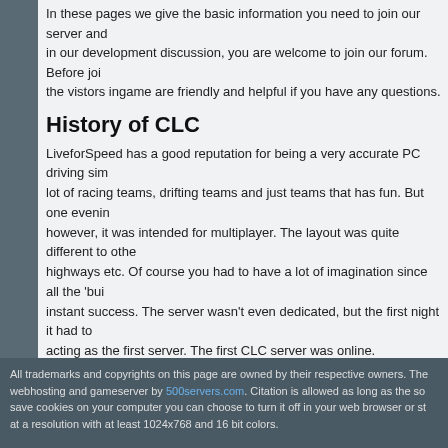In these pages we give the basic information you need to join our server and... in our development discussion, you are welcome to join our forum. Before joi... the vistors ingame are friendly and helpful if you have any questions.
History of CLC
LiveforSpeed has a good reputation for being a very accurate PC driving sim... lot of racing teams, drifting teams and just teams that has fun. But one evenin... however, it was intended for multiplayer. The layout was quite different to othe... highways etc. Of course you had to have a lot of imagination since all the 'bu... instant success. The server wasn't even dedicated, but the first night it had to... acting as the first server. The first CLC server was online.
People showed more and more interest, also to help and administer the serve... Sometime after the summer 2006 we got somewhat organized and here is th... never thought would happen. This really made us fight more for our ideas. Ra... to buy and sell cars, to get fines from the cops and earn money while driving.... us our best InSim programmer there is, Monk, to lay the base to our future. It... 16th of dec 2006, it was recieved with very much joy. Before it crashed after a...
The first couple of months after the launch of CLIS (CityLife InSim) we tweak... The admininstrator of 500server.com discovered us and offered us two free s... for real (sorry MaxH, 10 MBit is much, but not enough). The servers was max... idea. 16th of june 2007 we launched our 2.0 version with loads of improveme... didnt have any evolution of CLIS since Monk didnt had time any more. During... since then he has been our hero behind the scenes.
All trademarks and copyrights on this page are owned by their respective owners. The webhosting and gameserver by 500servers.com. Citation is allowed as long as the so... save cookies on your computer you can choose to turn it off in your web browser or st... at a resolution with at least 1024x768 and 16 bit colors.